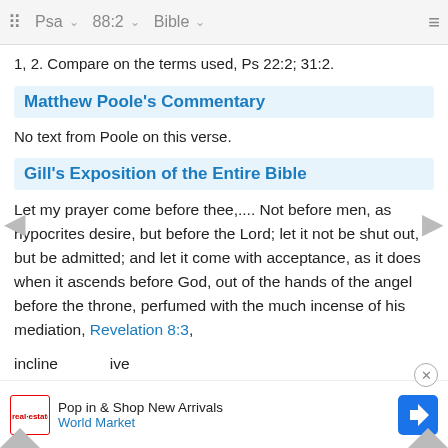Psa  88:2  Bible
1, 2. Compare on the terms used, Ps 22:2; 31:2.
Matthew Poole's Commentary
No text from Poole on this verse.
Gill's Exposition of the Entire Bible
Let my prayer come before thee,.... Not before men, as hypocrites desire, but before the Lord; let it not be shut out, but be admitted; and let it come with acceptance, as it does when it ascends before God, out of the hands of the angel before the throne, perfumed with the much incense of his mediation, Revelation 8:3,
incline ... ive it, and ... e atter...